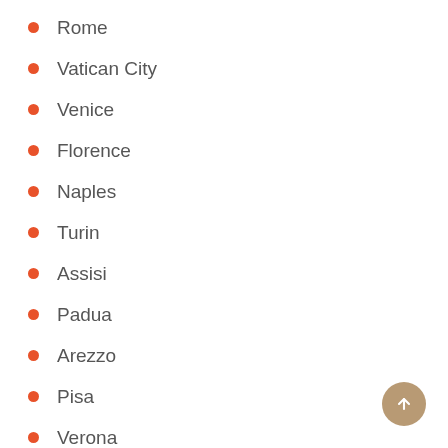Rome
Vatican City
Venice
Florence
Naples
Turin
Assisi
Padua
Arezzo
Pisa
Verona